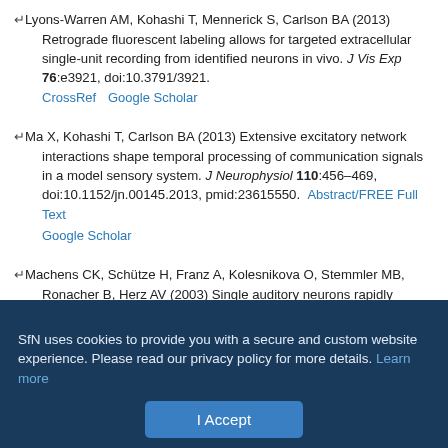↵Lyons-Warren AM, Kohashi T, Mennerick S, Carlson BA (2013) Retrograde fluorescent labeling allows for targeted extracellular single-unit recording from identified neurons in vivo. J Vis Exp 76:e3921, doi:10.3791/3921. CrossRef Google Scholar
↵Ma X, Kohashi T, Carlson BA (2013) Extensive excitatory network interactions shape temporal processing of communication signals in a model sensory system. J Neurophysiol 110:456–469, doi:10.1152/jn.00145.2013, pmid:23615550. Abstract/FREE Full Text Google Scholar
↵Machens CK, Schütze H, Franz A, Kolesnikova O, Stemmler MB, Ronacher B, Herz AV (2003) Single auditory neurons rapidly discriminate conspecific communication signals. Nat Neurosci 6:341–342, doi:10.1038/nn1036, pmid:12652305. CrossRef PubMed Google Scholar
SfN uses cookies to provide you with a secure and custom website experience. Please read our privacy policy for more details. Learn more